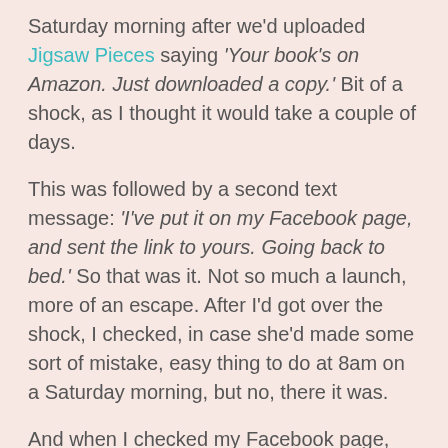Saturday morning after we'd uploaded Jigsaw Pieces saying 'Your book's on Amazon. Just downloaded a copy.' Bit of a shock, as I thought it would take a couple of days.
This was followed by a second text message: 'I've put it on my Facebook page, and sent the link to yours. Going back to bed.' So that was it. Not so much a launch, more of an escape. After I'd got over the shock, I checked, in case she'd made some sort of mistake, easy thing to do at 8am on a Saturday morning, but no, there it was.
And when I checked my Facebook page, there it was again. And someone else had downloaded a copy. Which meant that in the space of 6 minutes, I'd made enough money to buy ... ooh, half a small espresso. Which was very exciting.
And then...